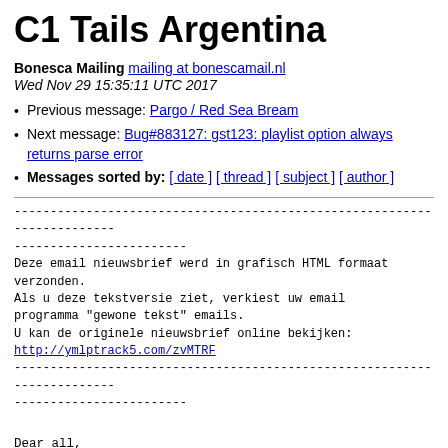C1 Tails Argentina
Bonesca Mailing mailing at bonescamail.nl
Wed Nov 29 15:35:11 UTC 2017
Previous message: Pargo / Red Sea Bream
Next message: Bug#883127: gst123: playlist option always returns parse error
Messages sorted by: [ date ] [ thread ] [ subject ] [ author ]
------------------------------------------------------------------------
------------------------
Deze email nieuwsbrief werd in grafisch HTML formaat verzonden.
Als u deze tekstversie ziet, verkiest uw email programma "gewone tekst" emails.
U kan de originele nieuwsbrief online bekijken:
http://ymlptrack5.com/zvMTRF
------------------------------------------------------------------------
------------------------
Dear all,
We were asked if we can help finding a customer for